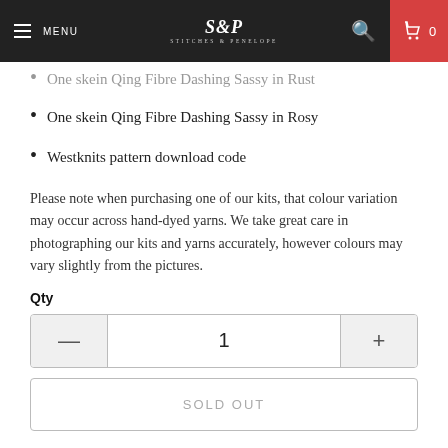MENU | S&P (logo) | search | 0
One skein Qing Fibre Dashing Sassy in Rust
One skein Qing Fibre Dashing Sassy in Rosy
Westknits pattern download code
Please note when purchasing one of our kits, that colour variation may occur across hand-dyed yarns. We take great care in photographing our kits and yarns accurately, however colours may vary slightly from the pictures.
Qty
1
SOLD OUT